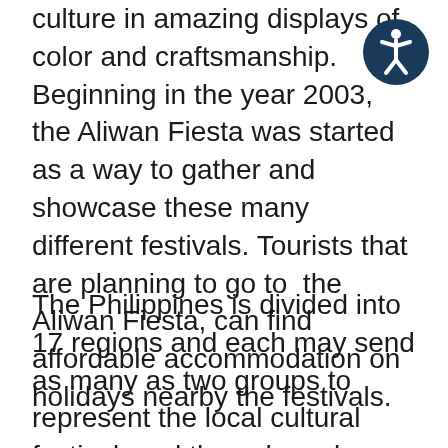culture in amazing displays of color and craftsmanship. Beginning in the year 2003, the Aliwan Fiesta was started as a way to gather and showcase these many different festivals. Tourists that are planning to go to  the Aliwan Fiesta, can find affordable accommodation on holidays nearby the festivals.
The Philippines is divided into 17 regions and each may send as many as two groups to represent the local cultural festival, and those have been chose through a stiffly competitive process. The different cultural groups actually compete in parades that combine street dancing with giant floats that can only be described as works of art. In addition, a beauty pageant is run with competitors from the different cultural areas with pageant contestant